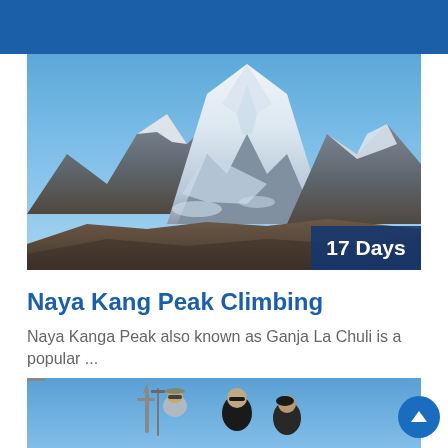TRIP SEARCH
[Figure (photo): Snow-capped mountain peak (Naya Kang / Ganja La Chuli) with rocky terrain in foreground, blue sky background. Badge showing '17 Days' in bottom-right corner.]
Naya Kang Peak Climbing
Naya Kanga Peak also known as Ganja La Chuli is a popular ...
[Figure (photo): Group of climbers/trekkers posing outdoors, one holding an ice axe, against a bright blue sky background.]